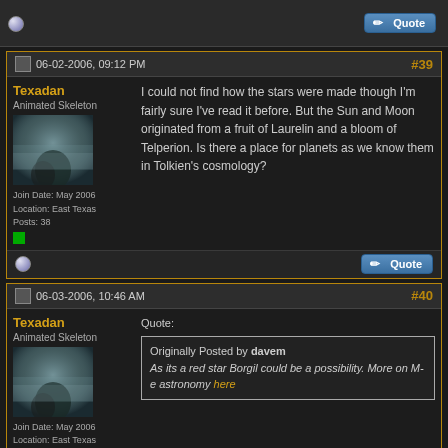[top strip with quote button]
06-02-2006, 09:12 PM #39
Texadan
Animated Skeleton
Join Date: May 2006
Location: East Texas
Posts: 38
I could not find how the stars were made though I'm fairly sure I've read it before. But the Sun and Moon originated from a fruit of Laurelin and a bloom of Telperion. Is there a place for planets as we know them in Tolkien's cosmology?
06-03-2006, 10:46 AM #40
Texadan
Animated Skeleton
Join Date: May 2006
Location: East Texas
Posts: 38
Quote:
Originally Posted by davem
As its a red star Borgil could be a possibility. More on M-e astronomy here